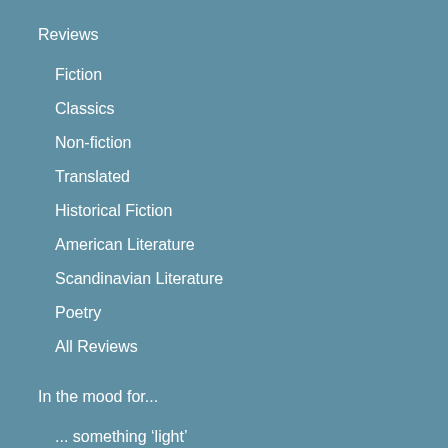Reviews
Fiction
Classics
Non-fiction
Translated
Historical Fiction
American Literature
Scandinavian Literature
Poetry
All Reviews
In the mood for...
... something ‘light’
... something funny
... something challenging
...something thrilling
...something short (but good!)
...something long and epic
Bookclub Reads
Index
by author